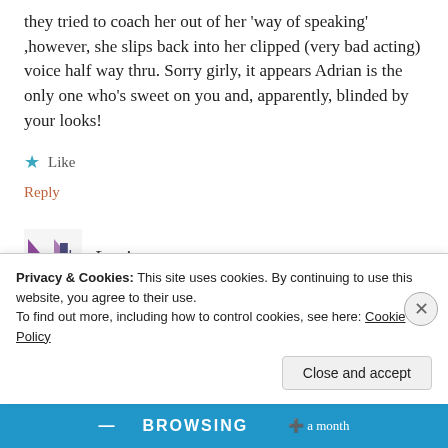they tried to coach her out of her ‘way of speaking’ ,however, she slips back into her clipped (very bad acting) voice half way thru. Sorry girly, it appears Adrian is the only one who’s sweet on you and, apparently, blinded by your looks!
★ Like
Reply
[Figure (illustration): User avatar with decorative icon in dark purple/maroon tones]
Louise
Privacy & Cookies: This site uses cookies. By continuing to use this website, you agree to their use.
To find out more, including how to control cookies, see here: Cookie Policy
Close and accept
BROWSING